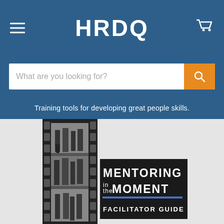[Figure (logo): HRDQ website header with hamburger menu, HRDQ logo in white, and cart icon on blue background]
[Figure (screenshot): Search bar with placeholder text 'What are you looking for?' and orange search button]
Training tools for developing great people skills.
[Figure (photo): Mentoring in the Moment Facilitator Guide book cover showing film strip with black and white images of people walking, with dark title block reading MENTORING in the MOMENT FACILITATOR GUIDE with a blue accent line]